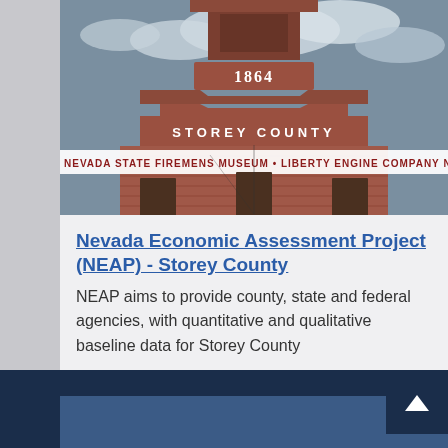[Figure (photo): Storey County brick building facade showing '1864' and 'STOREY COUNTY' text, with a banner reading 'NEVADA STATE FIREMENS MUSEUM • LIBERTY ENGINE COMPANY NO']
Nevada Economic Assessment Project (NEAP) - Storey County
NEAP aims to provide county, state and federal agencies, with quantitative and qualitative baseline data for Storey County